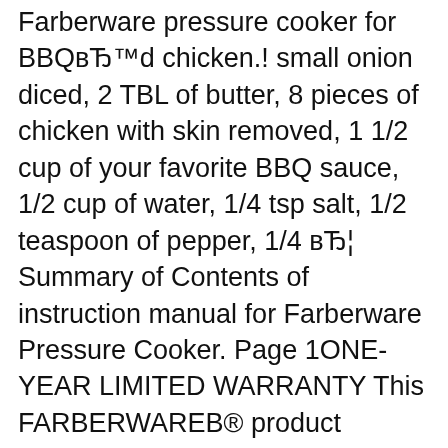Farberware pressure cooker for BBQвЂ™d chicken.! small onion diced, 2 TBL of butter, 8 pieces of chicken with skin removed, 1 1/2 cup of your favorite BBQ sauce, 1/2 cup of water, 1/4 tsp salt, 1/2 teaspoon of pepper, 1/4 вЂ¦ Summary of Contents of instruction manual for Farberware Pressure Cooker. Page 1ONE-YEAR LIMITED WARRANTY This FARBERWAREВ® product warranty extends to the original consumer purchaser of the product. Warranty Duration: This product...
Search a manual > Download : Operating instructions, user manual, owner's manual, installation manual, workshop manual, repair manual,